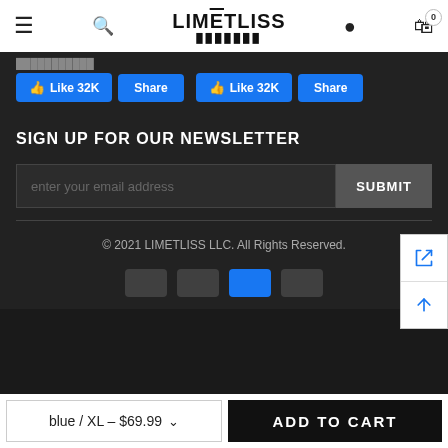LIMETLISS
[Figure (screenshot): Facebook Like (32K) and Share buttons, shown twice in a row]
SIGN UP FOR OUR NEWSLETTER
enter your email address
SUBMIT
© 2021 LIMETLISS LLC. All Rights Reserved.
[Figure (infographic): Payment icons: Visa, Mastercard, American Express, PayPal]
blue / XL - $69.99
ADD TO CART